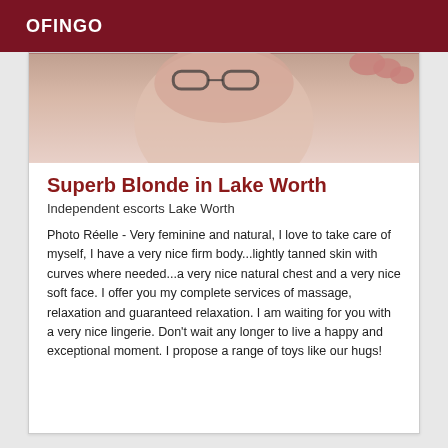OFINGO
[Figure (photo): Close-up photo of a person wearing glasses, viewed from above, partial face visible]
Superb Blonde in Lake Worth
Independent escorts Lake Worth
Photo Réelle - Very feminine and natural, I love to take care of myself, I have a very nice firm body...lightly tanned skin with curves where needed...a very nice natural chest and a very nice soft face. I offer you my complete services of massage, relaxation and guaranteed relaxation. I am waiting for you with a very nice lingerie. Don't wait any longer to live a happy and exceptional moment. I propose a range of toys like our hugs!